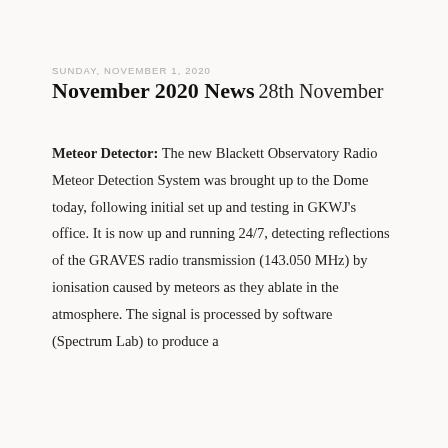SUNDAY, NOVEMBER 1, 2020
November 2020 News
28th November
Meteor Detector: The new Blackett Observatory Radio Meteor Detection System was brought up to the Dome today, following initial set up and testing in GKWJ's office. It is now up and running 24/7, detecting reflections of the GRAVES radio transmission (143.050 MHz) by ionisation caused by meteors as they ablate in the atmosphere. The signal is processed by software (Spectrum Lab) to produce a